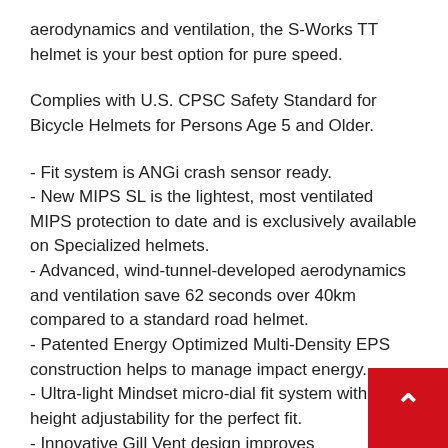aerodynamics and ventilation, the S-Works TT helmet is your best option for pure speed.
Complies with U.S. CPSC Safety Standard for Bicycle Helmets for Persons Age 5 and Older.
- Fit system is ANGi crash sensor ready.
- New MIPS SL is the lightest, most ventilated MIPS protection to date and is exclusively available on Specialized helmets.
- Advanced, wind-tunnel-developed aerodynamics and ventilation save 62 seconds over 40km compared to a standard road helmet.
- Patented Energy Optimized Multi-Density EPS construction helps to manage impact energy.
- Ultra-light Mindset micro-dial fit system with height adjustability for the perfect fit.
- Innovative Gill Vent design improves airflow and reduces drag.
- Removable Shield has a robust snap fit and comes with